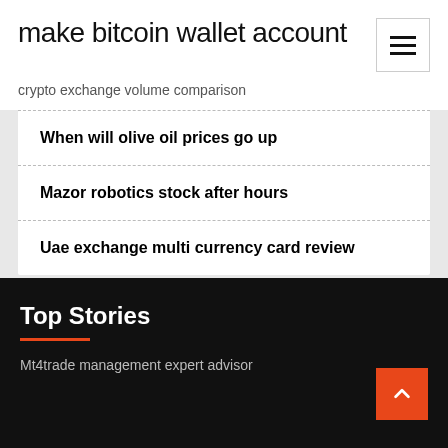make bitcoin wallet account
crypto exchange volume comparison
When will olive oil prices go up
Mazor robotics stock after hours
Uae exchange multi currency card review
Top Stories
Mt4trade management expert advisor